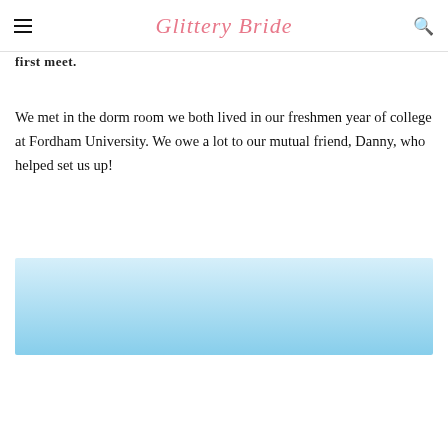Glittery Bride
first meet.
We met in the dorm room we both lived in our freshmen year of college at Fordham University. We owe a lot to our mutual friend, Danny, who helped set us up!
[Figure (other): Light blue gradient advertisement block]